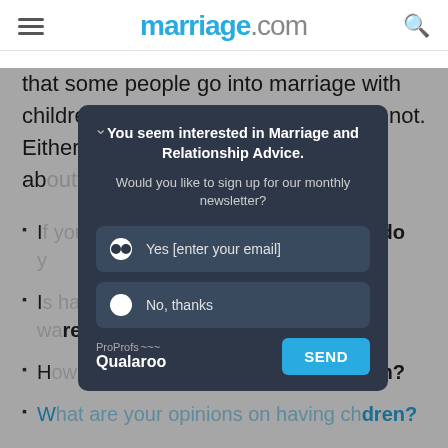marriage.com
that some people go into marriage with children already and some people do not. Either way, here are [partial] ...aight about
I... many do you...
I... here?
H... em?
W... dren?
W... the
[Figure (screenshot): Modal popup with dark background asking user to sign up for monthly newsletter about Marriage and Relationship Advice. Options: Yes [enter your email] and No, thanks. Send button and Qualaroo branding at bottom.]